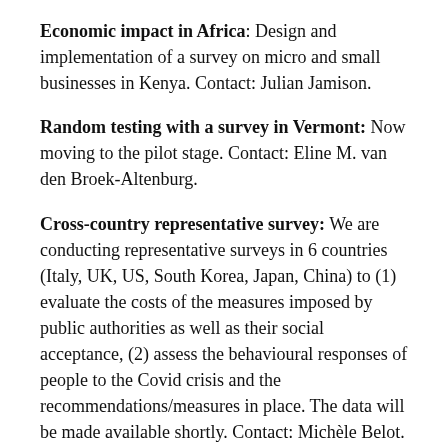Economic impact in Africa: Design and implementation of a survey on micro and small businesses in Kenya. Contact: Julian Jamison.
Random testing with a survey in Vermont: Now moving to the pilot stage. Contact: Eline M. van den Broek-Altenburg.
Cross-country representative survey: We are conducting representative surveys in 6 countries (Italy, UK, US, South Korea, Japan, China) to (1) evaluate the costs of the measures imposed by public authorities as well as their social acceptance, (2) assess the behavioural responses of people to the Covid crisis and the recommendations/measures in place. The data will be made available shortly. Contact: Michèle Belot.
Survey among diagnosed people in Italy: We aim at conducting a survey among positively diagnosed people